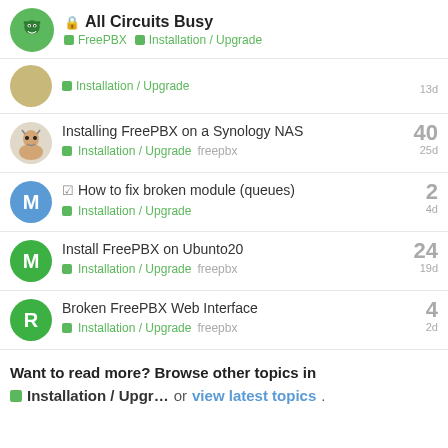All Circuits Busy — FreePBX / Installation / Upgrade
Installation / Upgrade — 13d
Installing FreePBX on a Synology NAS — Installation / Upgrade freepbx — 40 replies — 25d
How to fix broken module (queues) — Installation / Upgrade — 2 replies — 4d
Install FreePBX on Ubunto20 — Installation / Upgrade freepbx — 24 replies — 19d
Broken FreePBX Web Interface — Installation / Upgrade freepbx — 4 replies — 2d
Want to read more? Browse other topics in Installation / Upgr... or view latest topics.